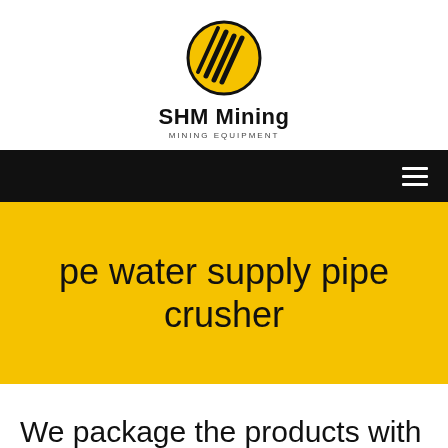[Figure (logo): SHM Mining logo: yellow oval with black diagonal stripe lines, company name 'SHM Mining' and subtitle 'MINING EQUIPMENT']
[Figure (other): Black navigation bar with white hamburger menu icon on the right]
pe water supply pipe crusher
We package the products with best services to make you a happy